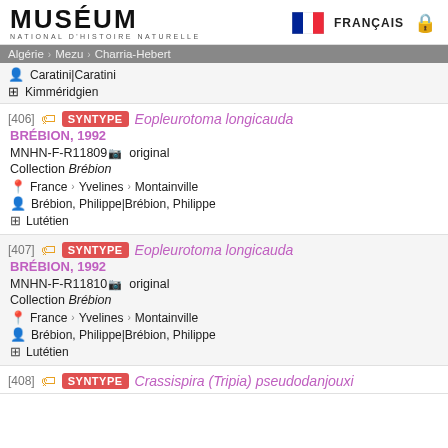MUSÉUM NATIONAL D'HISTOIRE NATURELLE | FRANÇAIS
Algérie > Mezu > Charria-Hebert
Caratini|Caratini
Kimméridgien
[406] SYNTYPE Eopleurotoma longicauda BRÉBION, 1992
MNHN-F-R11809 original
Collection Brébion
France > Yvelines > Montainville
Brébion, Philippe|Brébion, Philippe
Lutétien
[407] SYNTYPE Eopleurotoma longicauda BRÉBION, 1992
MNHN-F-R11810 original
Collection Brébion
France > Yvelines > Montainville
Brébion, Philippe|Brébion, Philippe
Lutétien
[408] SYNTYPE Crassispira (Tripia) pseudodanjouxi